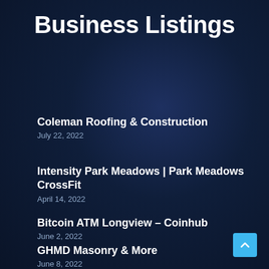Business Listings
Coleman Roofing & Construction
July 22, 2022
Intensity Park Meadows | Park Meadows CrossFit
April 14, 2022
Bitcoin ATM Longview – Coinhub
June 2, 2022
GHMD Masonry & More
June 8, 2022